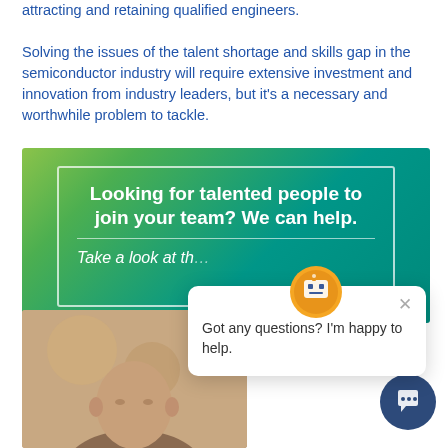attracting and retaining qualified engineers. Solving the issues of the talent shortage and skills gap in the semiconductor industry will require extensive investment and innovation from industry leaders, but it's a necessary and worthwhile problem to tackle.
[Figure (screenshot): Teal/green banner advertisement reading 'Looking for talented people to join your team? We can help.' with italic subtitle 'Take a look at th...' overlaid by a chat popup widget with avatar and text 'Got any questions? I'm happy to help.']
[Figure (photo): Partial photo of a bald man against a blurred warm-toned background.]